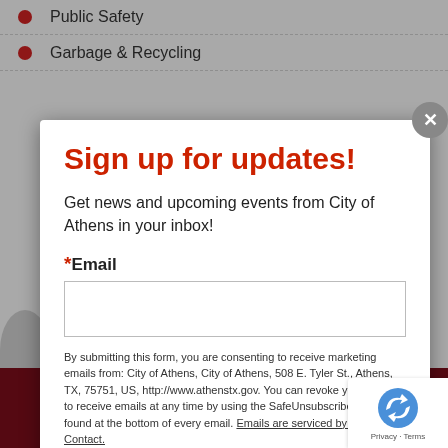Public Safety
Garbage & Recycling
Sign up for updates!
Get news and upcoming events from City of Athens in your inbox!
*Email
By submitting this form, you are consenting to receive marketing emails from: City of Athens, City of Athens, 508 E. Tyler St., Athens, TX, 75751, US, http://www.athenstx.gov. You can revoke your consent to receive emails at any time by using the SafeUnsubscribe® link, found at the bottom of every email. Emails are serviced by Constant Contact.
[Figure (logo): reCAPTCHA logo with Privacy and Terms text]